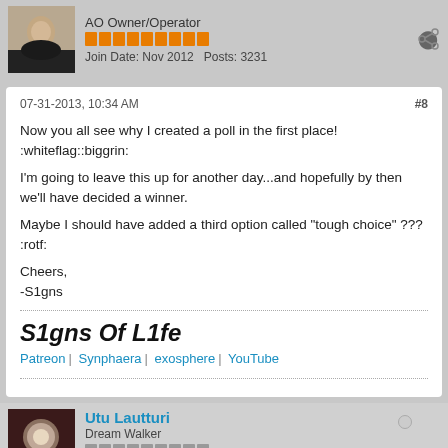AO Owner/Operator
Join Date: Nov 2012   Posts: 3231
07-31-2013, 10:34 AM
#8
Now you all see why I created a poll in the first place! :whiteflag::biggrin:

I'm going to leave this up for another day...and hopefully by then we'll have decided a winner.

Maybe I should have added a third option called "tough choice" ??? :rotf:

Cheers,
-S1gns
S1gns Of L1fe
Patreon | Synphaera | exosphere | YouTube
Utu Lautturi
Dream Walker
Join Date: Mar 2013   Posts: 76